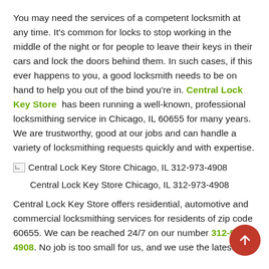You may need the services of a competent locksmith at any time. It's common for locks to stop working in the middle of the night or for people to leave their keys in their cars and lock the doors behind them. In such cases, if this ever happens to you, a good locksmith needs to be on hand to help you out of the bind you're in. Central Lock Key Store  has been running a well-known, professional locksmithing service in Chicago, IL 60655 for many years. We are trustworthy, good at our jobs and can handle a variety of locksmithing requests quickly and with expertise.
[Figure (photo): Broken image placeholder icon followed by text: Central Lock Key Store Chicago, IL 312-973-4908]
Central Lock Key Store Chicago, IL 312-973-4908
Central Lock Key Store offers residential, automotive and commercial locksmithing services for residents of zip code 60655. We can be reached 24/7 on our number 312-973-4908. No job is too small for us, and we use the latest